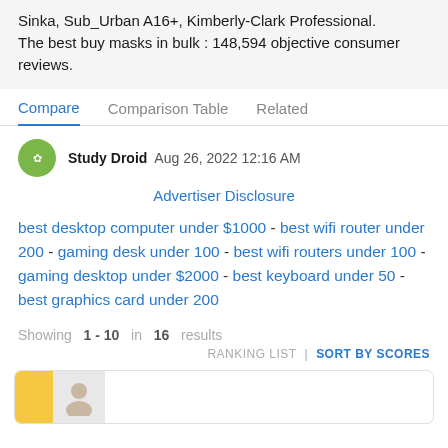Sinka, sub_Urban A16+, Kimberly-Clark Professional. The best buy masks in bulk : 148,594 objective consumer reviews.
Compare   Comparison Table   Related
Study Droid  Aug 26, 2022 12:16 AM
Advertiser Disclosure
best desktop computer under $1000 - best wifi router under 200 - gaming desk under 100 - best wifi routers under 100 - gaming desktop under $2000 - best keyboard under 50 - best graphics card under 200
Showing 1 - 10 in 16 results
RANKING LIST | SORT BY SCORES